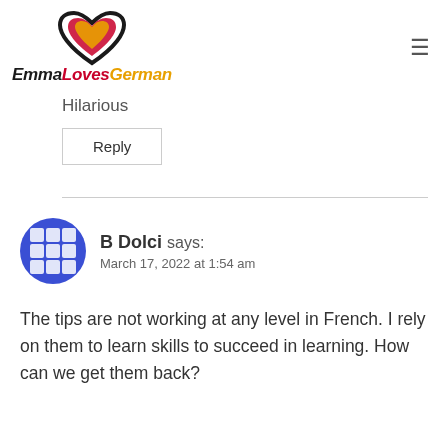[Figure (logo): Emma Loves German logo with heart icon in black, red, and yellow/orange colors]
Hilarious
Reply
B Dolci says: March 17, 2022 at 1:54 am
The tips are not working at any level in French. I rely on them to learn skills to succeed in learning. How can we get them back?